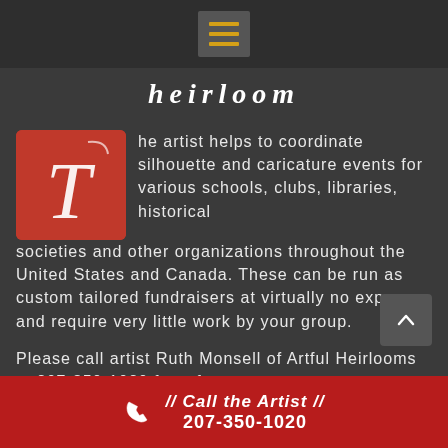heirloom
[Figure (logo): Red square with white cursive letter T]
he artist helps to coordinate silhouette and caricature events for various schools, clubs, libraries, historical societies and other organizations throughout the United States and Canada. These can be run as custom tailored fundraisers at virtually no expense and require very little work by your group.
Please call artist Ruth Monsell of Artful Heirlooms at 207-350-1020 for a free quote
// Call the Artist // 207-350-1020